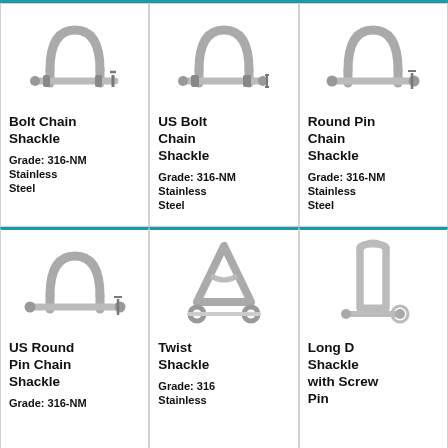[Figure (illustration): Bolt Chain Shackle - stainless steel shackle with bolt pin, photographed on white background]
Bolt Chain Shackle
Grade: 316-NM Stainless Steel
[Figure (illustration): US Bolt Chain Shackle - stainless steel shackle with bolt pin and nut, photographed on white background]
US Bolt Chain Shackle
Grade: 316-NM Stainless Steel
[Figure (illustration): Round Pin Chain Shackle - stainless steel shackle with round pin, photographed on white background]
Round Pin Chain Shackle
Grade: 316-NM Stainless Steel
[Figure (illustration): US Round Pin Chain Shackle - stainless steel shackle with round pin, photographed on white background]
US Round Pin Chain Shackle
Grade: 316-NM
[Figure (illustration): Twist Shackle - stainless steel twist/swivel shackle, photographed on white background]
Twist Shackle
Grade: 316 Stainless
[Figure (illustration): Long D Shackle with Screw Pin - stainless steel long D shackle, photographed on white background]
Long D Shackle with Screw Pin